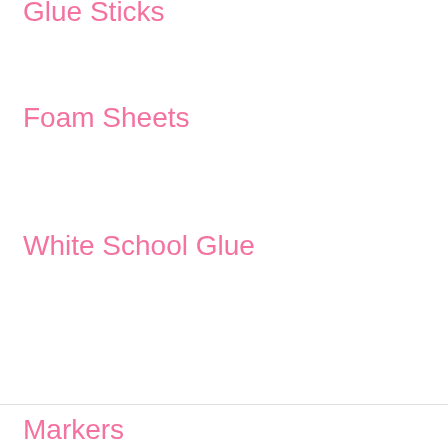Glue Sticks
Foam Sheets
White School Glue
Markers